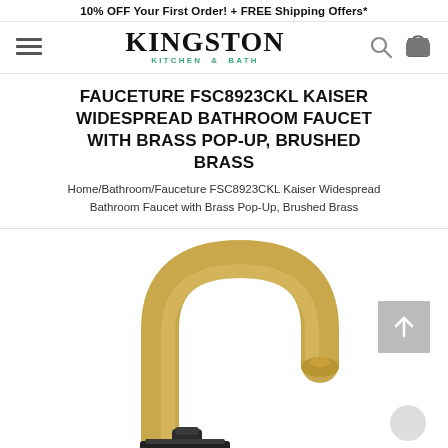10% OFF Your First Order! + FREE Shipping Offers*
[Figure (logo): Kingston Kitchen & Bath logo with hamburger menu, search icon, and cart icon]
FAUCETURE FSC8923CKL KAISER WIDESPREAD BATHROOM FAUCET WITH BRASS POP-UP, BRUSHED BRASS
Home/Bathroom/Fauceture FSC8923CKL Kaiser Widespread Bathroom Faucet with Brass Pop-Up, Brushed Brass
[Figure (photo): Brushed brass widespread bathroom faucet with tall curved gooseneck spout in gold/brass finish, product photo on white background]